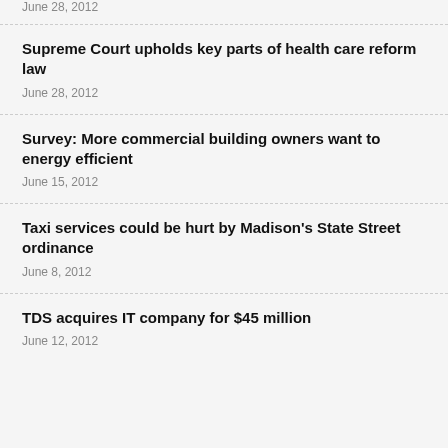June 28, 2012
Supreme Court upholds key parts of health care reform law
June 28, 2012
Survey: More commercial building owners want to energy efficient
June 15, 2012
Taxi services could be hurt by Madison's State Street ordinance
June 8, 2012
TDS acquires IT company for $45 million
June 12, 2012